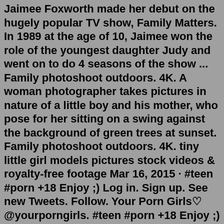Jaimee Foxworth made her debut on the hugely popular TV show, Family Matters. In 1989 at the age of 10, Jaimee won the role of the youngest daughter Judy and went on to do 4 seasons of the show ... Family photoshoot outdoors. 4K. A woman photographer takes pictures in nature of a little boy and his mother, who pose for her sitting on a swing against the background of green trees at sunset. Family photoshoot outdoors. 4K. tiny little girl models pictures stock videos & royalty-free footage Mar 16, 2015 · #teen #porn +18 Enjoy ;) Log in. Sign up. See new Tweets. Follow. Your Porn Girls♡ @yourporngirls. #teen #porn +18 Enjoy ;) Joined March 2015. 353 ... A little girl from Texas was caught on camera soothing a horse, and the video of her calming the gentle giant has gone viral. A little girl from Texas was caught on camera soothing a horse, and ...A little girl from Texas was caught on camera soothing a horse, and the video of her calming the gentle giant has gone viral. A little girl from Texas was caught on camera soothing a horse, and ...Naughty